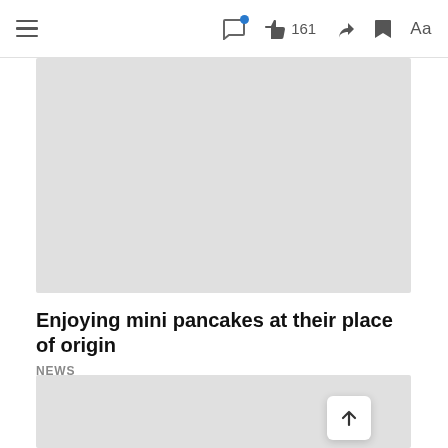Navigation bar with hamburger menu, comment icon with notification dot, like button with 161 likes, share icon, bookmark icon, Aa text size button
[Figure (photo): Large image placeholder (light gray rectangle) for article photo]
Enjoying mini pancakes at their place of origin
NEWS
[Figure (photo): Second image placeholder (light gray rectangle) partially visible at bottom of page]